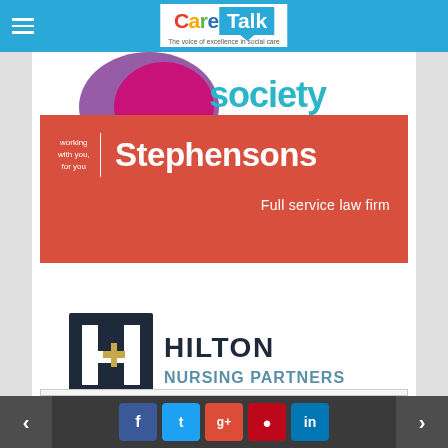Care Talk - The voice of excellence in social care
[Figure (logo): Partial Society logo visible at top of content - colourful arc shape with text 'society' in teal/cyan]
[Figure (logo): Stephensons full service law firm advertisement - red background with white text: 'working with you, for you | Stephensons' and 'Full service law firm']
[Figure (logo): Hilton Nursing Partners logo - dark navy H mark in square frame with gold plus sign, text 'HILTON NURSING PARTNERS' in dark navy]
< navigation arrow | f t g+ p in social media buttons | > navigation arrow